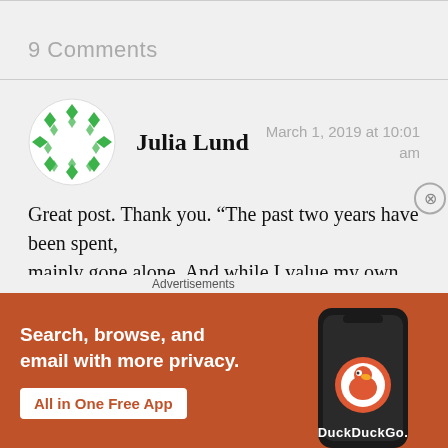9 Comments
Julia Lund
March 1, 2019 at 10:01 am
Great post. Thank you. “The past two years have been spent, mainly gone alone. And while I value my own time, while
[Figure (screenshot): DuckDuckGo advertisement banner: orange background with text 'Search, browse, and email with more privacy. All in One Free App' and a phone image with DuckDuckGo logo]
Advertisements